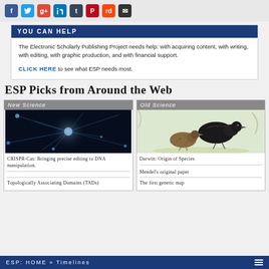[Figure (screenshot): Social media sharing icons: Facebook, Twitter, Google+, LinkedIn, Tumblr, Pinterest, Reddit, Email]
YOU CAN HELP
The Electronic Scholarly Publishing Project needs help: with acquiring content, with writing, with editing, with graphic production, and with financial support.
CLICK HERE to see what ESP needs most.
ESP Picks from Around the Web
[Figure (photo): Neuron / neural cell illustration with glowing blue tendrils on dark background – New Science card]
[Figure (illustration): Two birds (finch-like), one black and one brown speckled – Old Science card]
CRISPR-Cas: Bringing precise editing to DNA manipulation.
Topologically Associating Domains (TADs)
Darwin: Origin of Species
Mendel's original paper
The first genetic map
ESP: HOME » Timelines